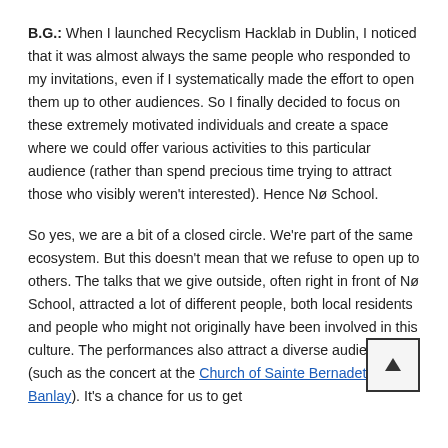B.G.: When I launched Recyclism Hacklab in Dublin, I noticed that it was almost always the same people who responded to my invitations, even if I systematically made the effort to open them up to other audiences. So I finally decided to focus on these extremely motivated individuals and create a space where we could offer various activities to this particular audience (rather than spend precious time trying to attract those who visibly weren't interested). Hence Nø School.
So yes, we are a bit of a closed circle. We're part of the same ecosystem. But this doesn't mean that we refuse to open up to others. The talks that we give outside, often right in front of Nø School, attracted a lot of different people, both local residents and people who might not originally have been involved in this culture. The performances also attract a diverse audience (such as the concert at the Church of Sainte Bernadette of Banlay). It's a chance for us to get